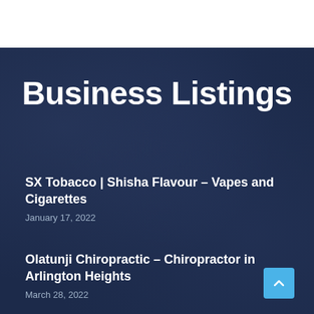Business Listings
SX Tobacco | Shisha Flavour – Vapes and Cigarettes
January 17, 2022
Olatunji Chiropractic – Chiropractor in Arlington Heights
March 28, 2022